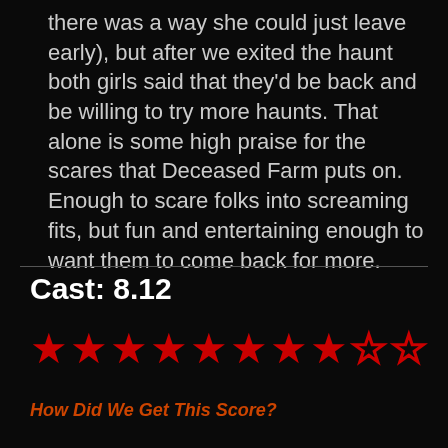there was a way she could just leave early), but after we exited the haunt both girls said that they'd be back and be willing to try more haunts. That alone is some high praise for the scares that Deceased Farm puts on. Enough to scare folks into screaming fits, but fun and entertaining enough to want them to come back for more.
Cast: 8.12
[Figure (other): Star rating display showing 8 filled red stars and 2 empty red star outlines out of 10]
How Did We Get This Score?